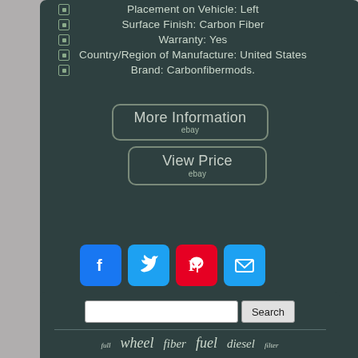Placement on Vehicle: Left
Surface Finish: Carbon Fiber
Warranty: Yes
Country/Region of Manufacture: United States
Brand: Carbonfibermods.
[Figure (screenshot): More Information button with eBay branding]
[Figure (screenshot): View Price button with eBay branding]
[Figure (infographic): Social sharing icons: Facebook, Twitter, Pinterest, Email]
[Figure (screenshot): Search bar with text input and Search button]
full  wheel  fiber  fuel  diesel  filter